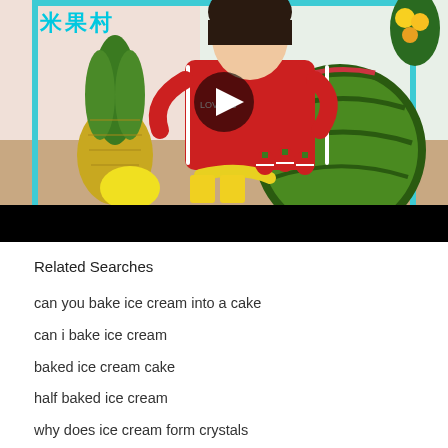[Figure (screenshot): YouTube video thumbnail showing a person in red shirt seated behind a table with fruits including a pineapple, watermelon, banana, lemon, and strawberries arranged on the table. The video has a black letterbox bar at the bottom and a play button overlay.]
Related Searches
can you bake ice cream into a cake
can i bake ice cream
baked ice cream cake
half baked ice cream
why does ice cream form crystals